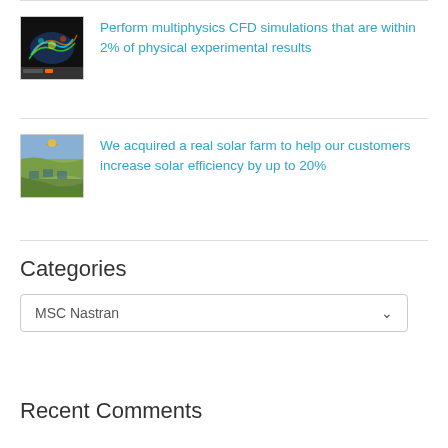[Figure (photo): CFD simulation image showing multiphysics visualization with colorful fluid dynamics]
Perform multiphysics CFD simulations that are within 2% of physical experimental results
[Figure (photo): Aerial photo of a solar farm in a landscape]
We acquired a real solar farm to help our customers increase solar efficiency by up to 20%
Categories
MSC Nastran
Recent Comments